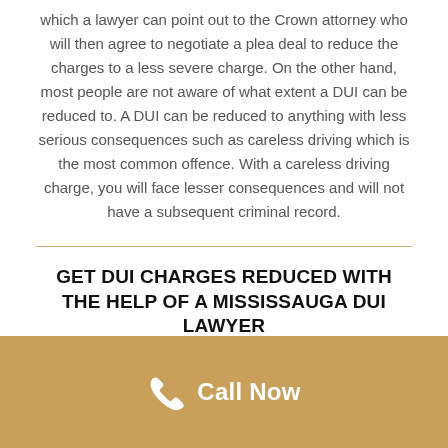which a lawyer can point out to the Crown attorney who will then agree to negotiate a plea deal to reduce the charges to a less severe charge. On the other hand, most people are not aware of what extent a DUI can be reduced to. A DUI can be reduced to anything with less serious consequences such as careless driving which is the most common offence. With a careless driving charge, you will face lesser consequences and will not have a subsequent criminal record.
GET DUI CHARGES REDUCED WITH THE HELP OF A MISSISSAUGA DUI LAWYER
[Figure (other): Gold/tan colored call-to-action bar with a white phone icon and 'Call Now' text in white]